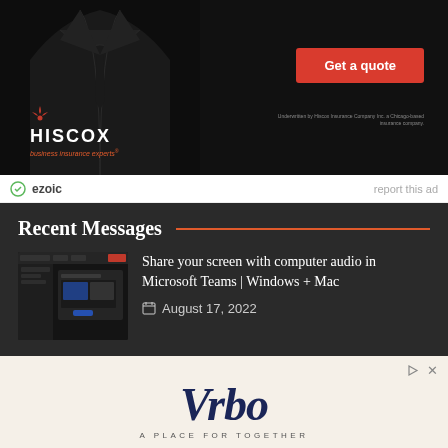[Figure (screenshot): Hiscox business insurance advertisement with dark background showing a suited figure, HISCOX logo, tagline 'business insurance experts', and a red 'Get a quote' button]
ezoic   report this ad
Recent Messages
[Figure (screenshot): Thumbnail screenshot of Microsoft Teams screen sharing interface]
Share your screen with computer audio in Microsoft Teams | Windows + Mac
August 17, 2022
[Figure (screenshot): Vrbo 'A Place For Together' advertisement with book now button on beige background]